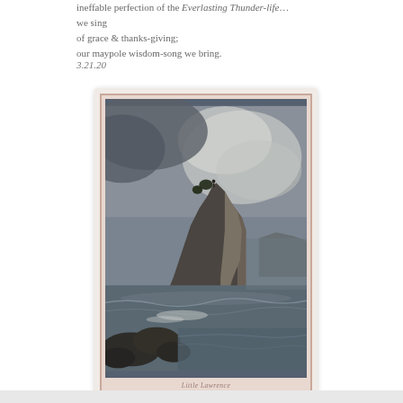ineffable perfection of the Everlasting Thunder-life… we sing of grace & thanks-giving; our maypole wisdom-song we bring.
3.21.20
[Figure (photo): A framed painting or print of a dramatic coastal cliff scene with dark rocky cliffs rising from a turbulent sea, stormy overcast sky with light breaking through. Pink/rose colored frame with inner mat. Faint cursive text at bottom of print.]